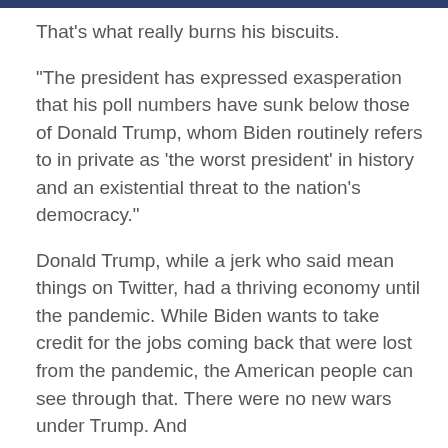That's what really burns his biscuits.
"The president has expressed exasperation that his poll numbers have sunk below those of Donald Trump, whom Biden routinely refers to in private as 'the worst president' in history and an existential threat to the nation's democracy."
Donald Trump, while a jerk who said mean things on Twitter, had a thriving economy until the pandemic. While Biden wants to take credit for the jobs coming back that were lost from the pandemic, the American people can see through that. There were no new wars under Trump. And